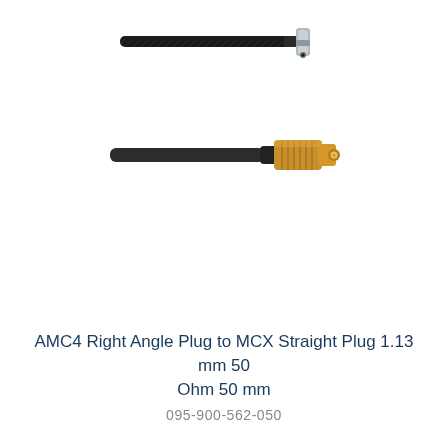[Figure (photo): Product photo showing two cable connectors: top one is an AMC4 right angle plug connector with black cable ending in a small right-angle metal tip; bottom one is an MCX straight plug connector with black cable ending in a gold-threaded cylindrical metal barrel connector.]
AMC4 Right Angle Plug to MCX Straight Plug 1.13 mm 50 Ohm 50 mm
095-900-562-050